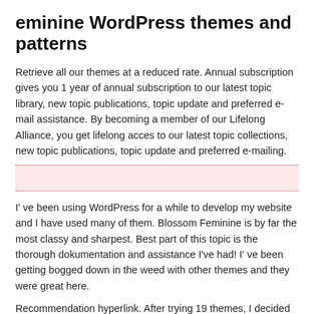eminine WordPress themes and patterns
Retrieve all our themes at a reduced rate. Annual subscription gives you 1 year of annual subscription to our latest topic library, new topic publications, topic update and preferred e-mail assistance. By becoming a member of our Lifelong Alliance, you get lifelong acces to our latest topic collections, new topic publications, topic update and preferred e-mailing.
[Figure (other): Pink highlighted box with dotted red top and bottom borders]
I' ve been using WordPress for a while to develop my website and I have used many of them. Blossom Feminine is by far the most classy and sharpest. Best part of this topic is the thorough dokumentation and assistance I've had! I' ve been getting bogged down in the weed with other themes and they were great here.
Recommendation hyperlink. After trying 19 themes, I decided to go with Blossom. Adaptation possibilities are astonishing, the subject is purely qualitative, and the level of service is not from